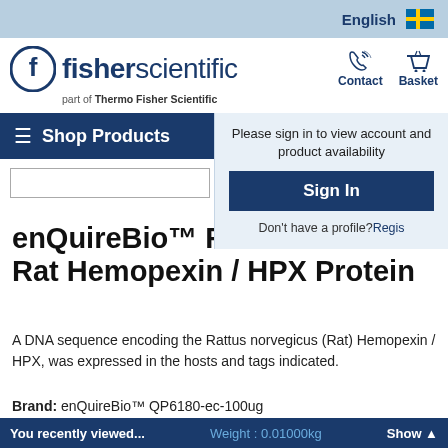English
[Figure (logo): Fisher Scientific logo — circular F icon with 'fisher scientific' text and 'part of Thermo Fisher Scientific' subtitle]
Contact   Basket
Shop Products
Please sign in to view account and product availability
Sign In
Don't have a profile? Regis...
enQuireBio™ Recombinant Rat Hemopexin / HPX Protein
A DNA sequence encoding the Rattus norvegicus (Rat) Hemopexin / HPX, was expressed in the hosts and tags indicated.
Brand:  enQuireBio™ QP6180-ec-100ug
You recently viewed...   Weight : 0.01000kg   Show ▲